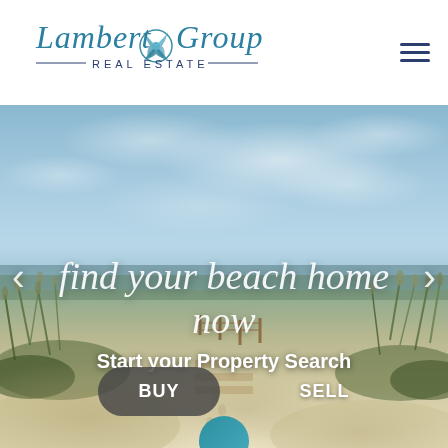[Figure (logo): Lambert Group Real Estate logo — cursive teal lettering with nautilus shell icon, subtitle in navy caps with horizontal rules]
[Figure (photo): Beach scene hero image: sandy path with wooden posts leading to white sand beach, sea oats and coastal vegetation, blue sky with wispy clouds. Overlay text: 'find your beach home now' in white italic script, 'Start your Property Search' in white bold, navigation arrows on sides, BUY and SELL buttons at bottom.]